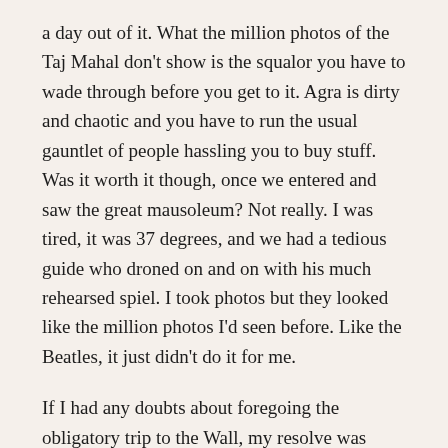a day out of it. What the million photos of the Taj Mahal don't show is the squalor you have to wade through before you get to it. Agra is dirty and chaotic and you have to run the usual gauntlet of people hassling you to buy stuff. Was it worth it though, once we entered and saw the great mausoleum? Not really. I was tired, it was 37 degrees, and we had a tedious guide who droned on and on with his much rehearsed spiel. I took photos but they looked like the million photos I'd seen before. Like the Beatles, it just didn't do it for me.
If I had any doubts about foregoing the obligatory trip to the Wall, my resolve was firmed by re-reading what Patrick Holland (Brisbane author and my masters supervisor) wrote about it in his book "Riding the Trains in Japan":
I had first seen the Wall as a tourist in Beijing and been...